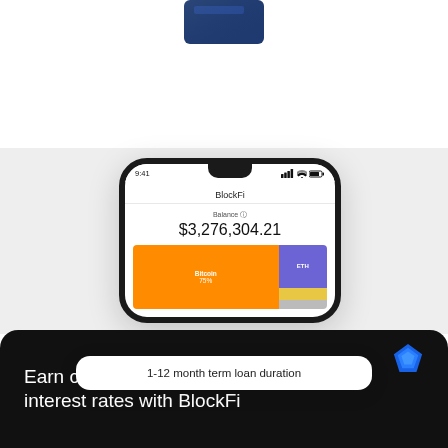[Figure (photo): Partial view of a dark blue credit/debit card at the top of the page on white background]
[Figure (screenshot): BlockFi mobile app screenshot showing balance of $3,276,304.21 with a portfolio allocation bar chart: Bitcoin 75% (orange), ETH (purple), and smaller allocations in yellow and gray]
1-12 month term loan duration
Earn custom crypto interest rates with BlockFi